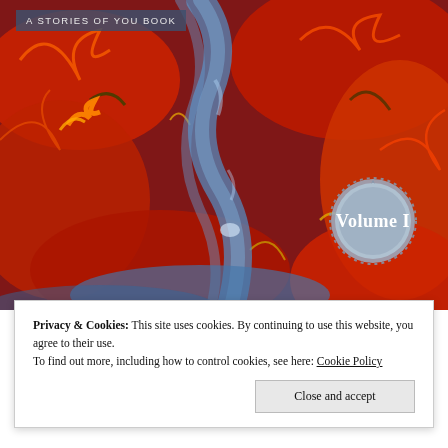[Figure (illustration): Book cover art: abstract painting with swirling red, orange, and blue brushstrokes suggesting a rocky canyon landscape. Top-left has a semi-transparent blue banner reading 'A STORIES OF YOU BOOK'. Bottom-right has a circular silver badge reading 'Volume I'.]
Privacy & Cookies: This site uses cookies. By continuing to use this website, you agree to their use.
To find out more, including how to control cookies, see here: Cookie Policy
Close and accept